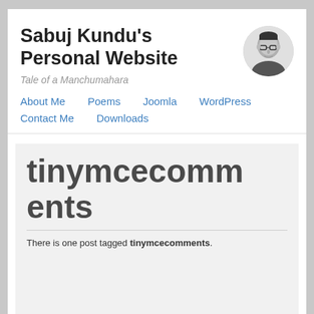Sabuj Kundu's Personal Website
Tale of a Manchumahara
[Figure (photo): Circular avatar photo of a man wearing glasses, black and white]
About Me
Poems
Joomla
WordPress
Contact Me
Downloads
tinymcecomments
There is one post tagged tinymcecomments.